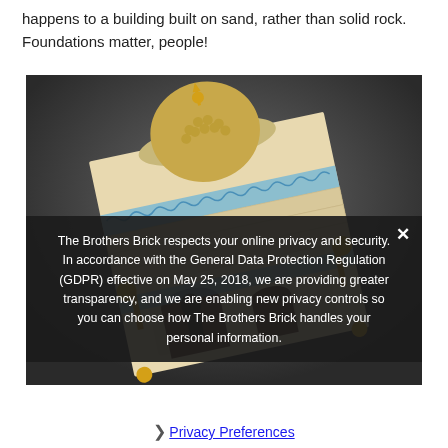happens to a building built on sand, rather than solid rock. Foundations matter, people!
[Figure (photo): A LEGO model of an ancient/classical temple-like building tilted at an angle, with a domed roof, golden ornaments, blue decorative patterns, and arched entrances. The image is angled dramatically showing the structure leaning/toppling.]
The Brothers Brick respects your online privacy and security. In accordance with the General Data Protection Regulation (GDPR) effective on May 25, 2018, we are providing greater transparency, and we are enabling new privacy controls so you can choose how The Brothers Brick handles your personal information.
Privacy Preferences